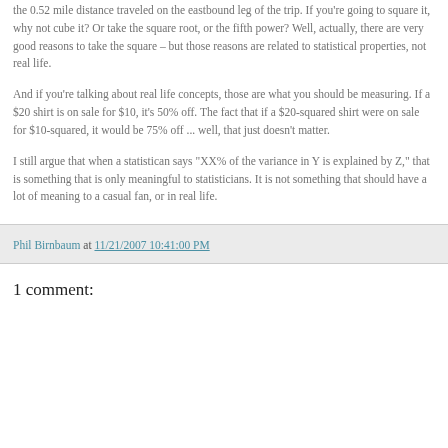the 0.52 mile distance traveled on the eastbound leg of the trip. If you're going to square it, why not cube it? Or take the square root, or the fifth power? Well, actually, there are very good reasons to take the square – but those reasons are related to statistical properties, not real life.
And if you're talking about real life concepts, those are what you should be measuring. If a $20 shirt is on sale for $10, it's 50% off. The fact that if a $20-squared shirt were on sale for $10-squared, it would be 75% off ... well, that just doesn't matter.
I still argue that when a statistican says "XX% of the variance in Y is explained by Z," that is something that is only meaningful to statisticians. It is not something that should have a lot of meaning to a casual fan, or in real life.
Phil Birnbaum at 11/21/2007 10:41:00 PM
1 comment: